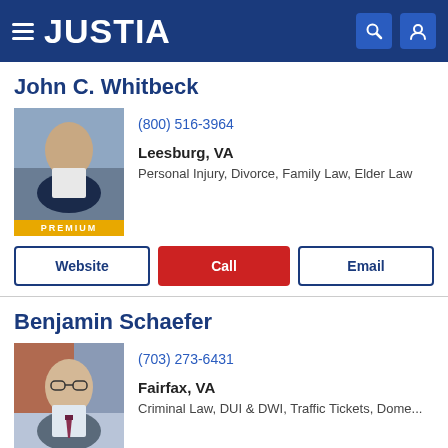JUSTIA
John C. Whitbeck
[Figure (photo): Professional headshot of attorney John C. Whitbeck in a suit, smiling, with PREMIUM badge]
(800) 516-3964
Leesburg, VA
Personal Injury, Divorce, Family Law, Elder Law
Website | Call | Email
Benjamin Schaefer
[Figure (photo): Professional headshot of attorney Benjamin Schaefer wearing glasses and suit, with PREMIUM badge]
(703) 273-6431
Fairfax, VA
Criminal Law, DUI & DWI, Traffic Tickets, Dome...
Website | Call | Email